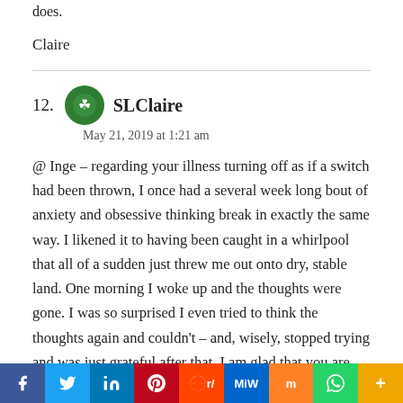does.
Claire
12. SLClaire
May 21, 2019 at 1:21 am
@ Inge – regarding your illness turning off as if a switch had been thrown, I once had a several week long bout of anxiety and obsessive thinking break in exactly the same way. I likened it to having been caught in a whirlpool that all of a sudden just threw me out onto dry, stable land. One morning I woke up and the thoughts were gone. I was so surprised I even tried to think the thoughts again and couldn't – and, wisely, stopped trying and was just grateful after that. I am glad that you are truly feeling better
[Figure (infographic): Social media share bar with buttons: Facebook (blue), Twitter (light blue), LinkedIn (dark blue), Pinterest (red), Reddit (orange-red), MeWe (dark blue), Mix (orange), WhatsApp (green), More (amber)]